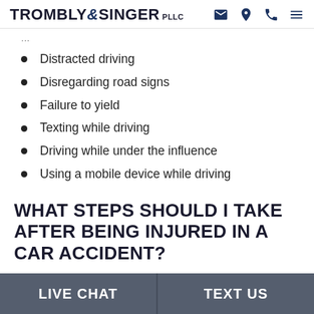TROMBLY & SINGER PLLC
Distracted driving
Disregarding road signs
Failure to yield
Texting while driving
Driving while under the influence
Using a mobile device while driving
WHAT STEPS SHOULD I TAKE AFTER BEING INJURED IN A CAR ACCIDENT?
LIVE CHAT | TEXT US